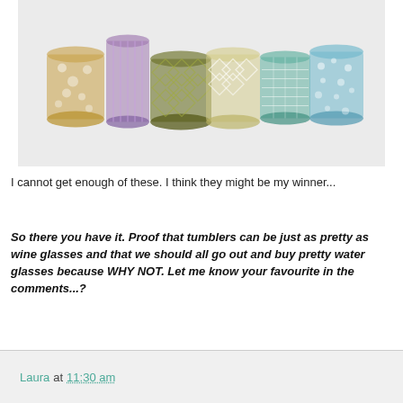[Figure (photo): Six colorful decorative glass tumblers arranged in a row on a light gray background. Colors include amber/gold, purple, olive green, yellow/cream, teal/green, and teal/blue with various cut and etched patterns.]
I cannot get enough of these. I think they might be my winner...
So there you have it. Proof that tumblers can be just as pretty as wine glasses and that we should all go out and buy pretty water glasses because WHY NOT. Let me know your favourite in the comments...?
Laura at 11:30 am